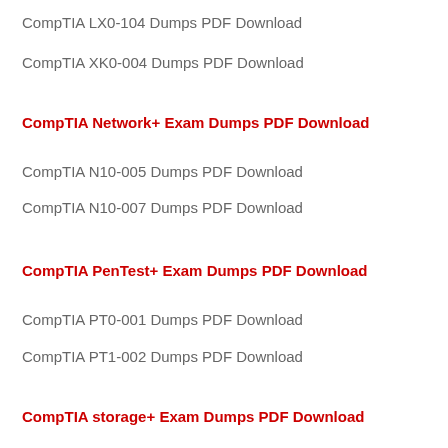CompTIA LX0-104 Dumps PDF Download
CompTIA XK0-004 Dumps PDF Download
CompTIA Network+ Exam Dumps PDF Download
CompTIA N10-005 Dumps PDF Download
CompTIA N10-007 Dumps PDF Download
CompTIA PenTest+ Exam Dumps PDF Download
CompTIA PT0-001 Dumps PDF Download
CompTIA PT1-002 Dumps PDF Download
CompTIA storage+ Exam Dumps PDF Download